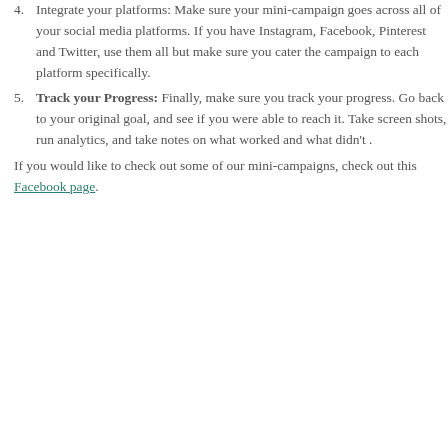4. Integrate your platforms: Make sure your mini-campaign goes across all of your social media platforms. If you have Instagram, Facebook, Pinterest and Twitter, use them all but make sure you cater the campaign to each platform specifically.
5. Track your Progress: Finally, make sure you track your progress. Go back to your original goal, and see if you were able to reach it. Take screen shots, run analytics, and take notes on what worked and what didn't .
If you would like to check out some of our mini-campaigns, check out this Facebook page.